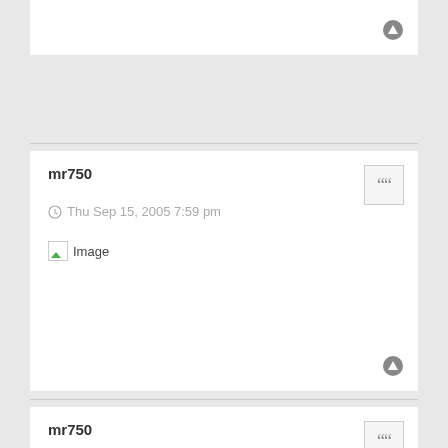mr750
Thu Sep 15, 2005 7:59 pm
[Figure (other): Image placeholder with broken image icon]
mr750
Thu Sep 15, 2005 8:06 pm
[Figure (other): Image placeholder with broken image icon]